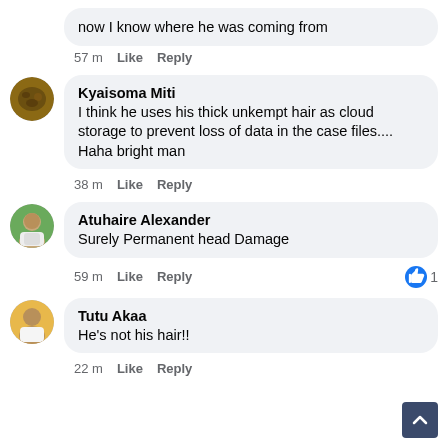now I know where he was coming from
57 m  Like  Reply
Kyaisoma Miti
I think he uses his thick unkempt hair as cloud storage to prevent loss of data in the case files.... Haha bright man
38 m  Like  Reply
Atuhaire Alexander
Surely Permanent head Damage
59 m  Like  Reply  1
Tutu Akaa
He's not his hair!!
22 m  Like  Reply